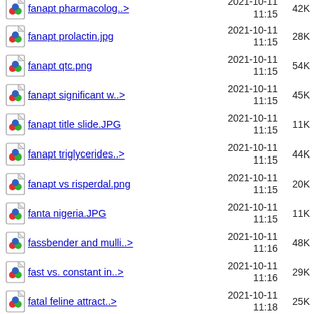fanapt prolactin.jpg  2021-10-11 11:15  28K
fanapt qtc.png  2021-10-11 11:15  54K
fanapt significant w..>  2021-10-11 11:15  45K
fanapt title slide.JPG  2021-10-11 11:15  11K
fanapt triglycerides..>  2021-10-11 11:15  44K
fanapt vs risperdal.png  2021-10-11 11:15  20K
fanta nigeria.JPG  2021-10-11 11:15  11K
fassbender and mulli..>  2021-10-11 11:16  48K
fast vs. constant in..>  2021-10-11 11:16  29K
fatal feline attract..>  2021-10-11 11:18  25K
fatal feline prefere..>  2021-10-11 11:18  33K